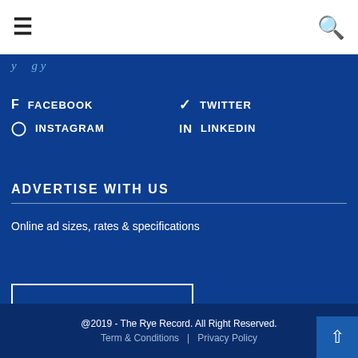≡  🔍
y ... g y
f FACEBOOK
🐦 TWITTER
⊙ INSTAGRAM
in LINKEDIN
ADVERTISE WITH US
Online ad sizes, rates & specifications
DOWNLOAD MEDIA KIT
@2019 - The Rye Record. All Right Reserved.
Term & Conditions  |  Privacy Policy